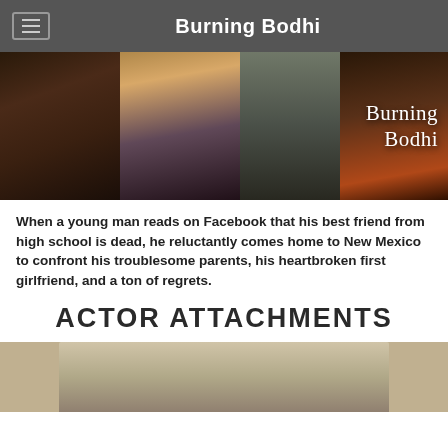Burning Bodhi
[Figure (photo): Banner collage of three young people with the title 'Burning Bodhi' overlaid on the right side]
When a young man reads on Facebook that his best friend from high school is dead, he reluctantly comes home to New Mexico to confront his troublesome parents, his heartbroken first girlfriend, and a ton of regrets.
ACTOR ATTACHMENTS
[Figure (photo): Partial photo of a blonde person at the bottom of the page]